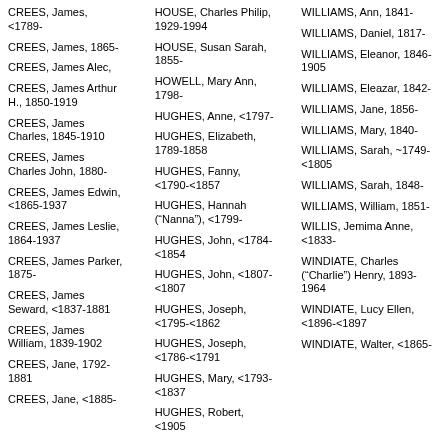CREES, James, <1789-
CREES, James, 1865-
CREES, James Alec,
CREES, James Arthur H., 1850-1919
CREES, James Charles, 1845-1910
CREES, James Charles John, 1880-
CREES, James Edwin, <1865-1937
CREES, James Leslie, 1864-1937
CREES, James Parker, 1875-
CREES, James Seward, <1837-1881
CREES, James William, 1839-1902
CREES, Jane, 1792-1881
CREES, Jane, <1885-
HOUSE, Charles Philip, 1929-1994
HOUSE, Susan Sarah, 1855-
HOWELL, Mary Ann, 1798-
HUGHES, Anne, <1797-
HUGHES, Elizabeth, 1789-1858
HUGHES, Fanny, <1790-<1857
HUGHES, Hannah ("Nanna"), <1799-
HUGHES, John, <1784-<1854
HUGHES, John, <1807-<1807
HUGHES, Joseph, <1795-<1862
HUGHES, Joseph, <1786-<1791
HUGHES, Mary, <1793-<1837
HUGHES, Robert, <1905
WILLIAMS, Ann, 1841-
WILLIAMS, Daniel, 1817-
WILLIAMS, Eleanor, 1846-1905
WILLIAMS, Eleazar, 1842-
WILLIAMS, Jane, 1856-
WILLIAMS, Mary, 1840-
WILLIAMS, Sarah, ~1749-<1805
WILLIAMS, Sarah, 1848-
WILLIAMS, William, 1851-
WILLIS, Jemima Anne, <1833-
WINDIATE, Charles ("Charlie") Henry, 1893-1964
WINDIATE, Lucy Ellen, <1896-<1897
WINDIATE, Walter, <1865-